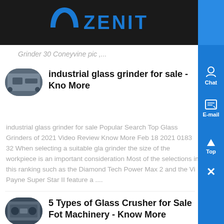ZENIT
Grinder 30 Coneyvine pic ,...
industrial glass grinder for sale - Know More
industrial glass grinder for sale Popular Search Top Glass Grinders of 2021 Video Review Know More Feb 18 2021 0183 32 When selecting a suitable glass grinder the size of the workpiece is an important consideration Most of the selections in this ranking such as the Diamond Tech Power Max 2 and the Vi Payne Super Star II feature a ....
5 Types of Glass Crusher for Sale Fot Machinery - Know More
02 09 2021 0183 32 5 Types of Glass Crusher for S...